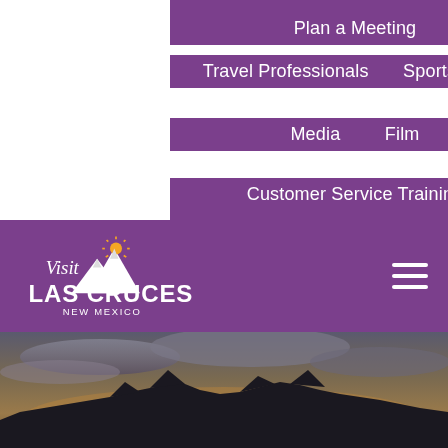Plan a Meeting
Travel Professionals
Sports Sales
Media
Film
Customer Service Training
[Figure (logo): Visit Las Cruces New Mexico logo with stylized mountains and sun on purple background]
[Figure (photo): Dramatic sunset/dusk photo of mountain silhouette with cloudy sky]